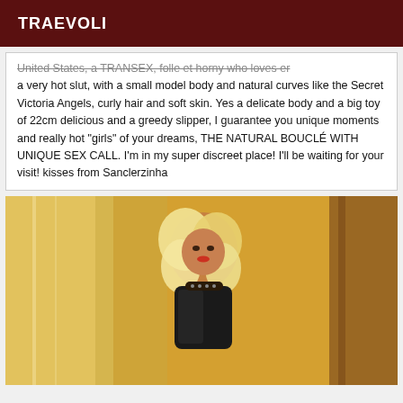TRAEVOLI
United States, a TRANSEX, folle et horny who loves er a very hot slut, with a small model body and natural curves like the Secret Victoria Angels, curly hair and soft skin. Yes a delicate body and a big toy of 22cm delicious and a greedy slipper, I guarantee you unique moments and really hot "girls" of your dreams, THE NATURAL BOUCLÉ WITH UNIQUE SEX CALL. I'm in my super discreet place! I'll be waiting for your visit! kisses from Sanclerzinha
[Figure (photo): A blonde person with curly hair wearing a black leather outfit, photographed against a warm golden/wood-toned background]